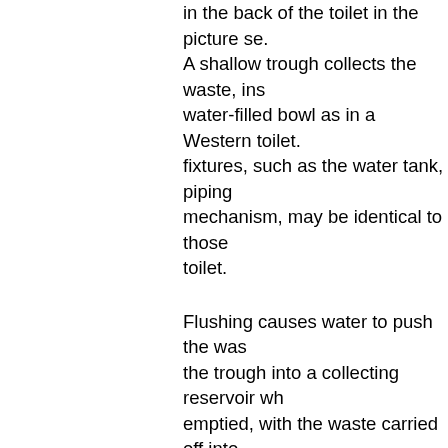in the back of the toilet in the picture se. A shallow trough collects the waste, ins water-filled bowl as in a Western toilet. fixtures, such as the water tank, piping mechanism, may be identical to those toilet.
Flushing causes water to push the was the trough into a collecting reservoir wh emptied, with the waste carried off into system. The flush is often operated in t manner as a Western toilet, though so handles or pedals instead. Many Japa two kinds of flush: "small" (小) and "larg difference is in the amount of water us is for urine (in Japanese, literally "sma the latter for feces ("large excretion"). T often pushed to the "small" setting to p continuous pouring noise for priva